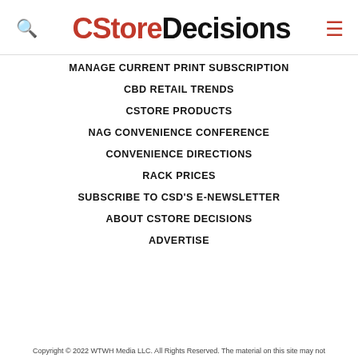[Figure (logo): CStore Decisions logo with search icon and hamburger menu icon]
MANAGE CURRENT PRINT SUBSCRIPTION
CBD RETAIL TRENDS
CSTORE PRODUCTS
NAG CONVENIENCE CONFERENCE
CONVENIENCE DIRECTIONS
RACK PRICES
SUBSCRIBE TO CSD'S E-NEWSLETTER
ABOUT CSTORE DECISIONS
ADVERTISE
Copyright © 2022 WTWH Media LLC. All Rights Reserved. The material on this site may not